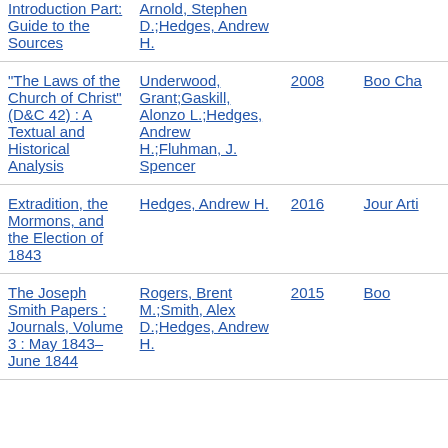| Title | Author | Year | Type |
| --- | --- | --- | --- |
| Introduction Part: Guide to the Sources | Arnold, Stephen D.;Hedges, Andrew H. |  |  |
| "The Laws of the Church of Christ" (D&C 42) : A Textual and Historical Analysis | Underwood, Grant;Gaskill, Alonzo L.;Hedges, Andrew H.;Fluhman, J. Spencer | 2008 | Book Chapter |
| Extradition, the Mormons, and the Election of 1843 | Hedges, Andrew H. | 2016 | Journal Article |
| The Joseph Smith Papers : Journals, Volume 3 : May 1843-June 1844 | Rogers, Brent M.;Smith, Alex D.;Hedges, Andrew H. | 2015 | Book |